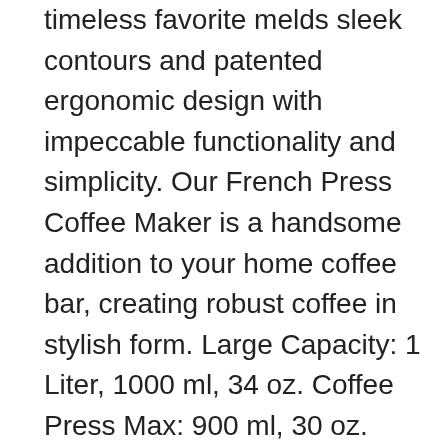MODERN FILTRATION this timeless favorite melds sleek contours and patented ergonomic design with impeccable functionality and simplicity. Our French Press Coffee Maker is a handsome addition to your home coffee bar, creating robust coffee in stylish form. Large Capacity: 1 Liter, 1000 ml, 34 oz. Coffee Press Max: 900 ml, 30 oz.
ADVANCED DOUBLE FILTRATION This portable coffee maker features double mesh filter captures sediment and allows more of the